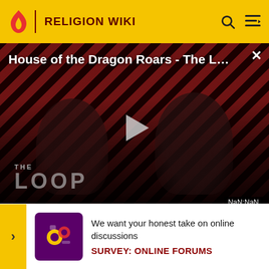RELIGION WIKI
[Figure (screenshot): Video player showing 'House of the Dragon Roars - The L...' with a play button, diagonal red/black stripe background, silhouetted figures, THE LOOP watermark, and NaN:NaN timestamp]
Leading up to the American Civil War, Baptists became embroiled in the controversy of slavery in the United Stat... hen the Ba... organ...d
[Figure (infographic): Survey banner: purple icon with online discussion graphics, text 'We want your honest take on online discussions', bold label 'SURVEY: ONLINE FORUMS']